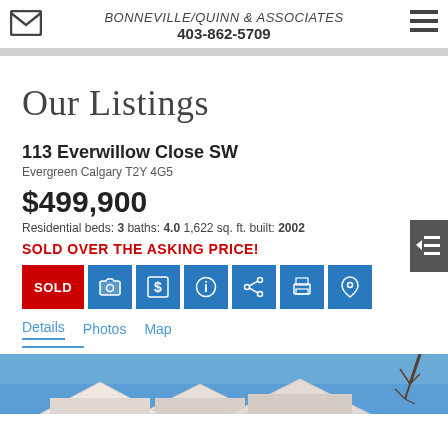BONNEVILLE/QUINN & ASSOCIATES 403-862-5709
Our Listings
113 Everwillow Close SW
Evergreen Calgary T2Y 4G5
$499,900
Residential beds: 3 baths: 4.0  1,622 sq. ft. built: 2002
SOLD OVER THE ASKING PRICE!
SOLD
Details  Photos  Map
[Figure (photo): Photo of a residential home at 113 Everwillow Close SW, showing roofline and blue sky with bare tree branches]